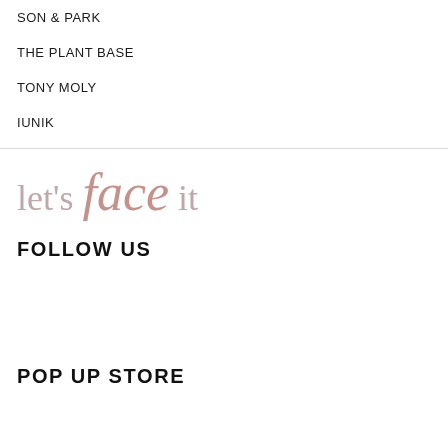SON & PARK
THE PLANT BASE
TONY MOLY
IUNIK
[Figure (logo): let's face it logo in serif/italic style with rose-colored 'face' word]
FOLLOW US
POP UP STORE